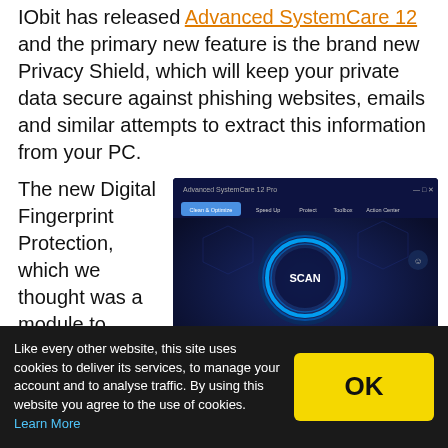IObit has released Advanced SystemCare 12 and the primary new feature is the brand new Privacy Shield, which will keep your private data secure against phishing websites, emails and similar attempts to extract this information from your PC.
The new Digital Fingerprint Protection, which we thought was a module to enable you
[Figure (screenshot): Screenshot of Advanced SystemCare 12 Pro application showing the Clean & Optimize tab with a SCAN button in the center (blue glowing circle), navigation tabs (Speed Up, Protect, Toolbox, Action Center), and checkboxes for various features including Startup Optimization, Privacy Sweep, Junk File Clean, Shortcut Fix, Registry Clean, Spyware Removal, Internet Boost, System Optimization, Registry Defrag, Security Sandbox, Vulnerability Fix, Disk Optimization. An orange 'Activate Now' button appears at the bottom right.]
Like every other website, this site uses cookies to deliver its services, to manage your account and to analyse traffic. By using this website you agree to the use of cookies. Learn More